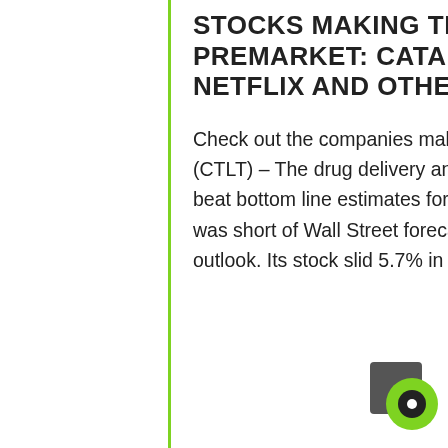STOCKS MAKING THE BIGGEST MOVES PREMARKET: CATALENT, PINDUODUO, NETFLIX AND OTHERS
Check out the companies making headlines before the bell: Catalent (CTLT) – The drug delivery and manufacturing technology company beat bottom line estimates for its latest quarter. However, its revenue was short of Wall Street forecasts, as was its full-year revenue outlook. Its stock slid 5.7% in the